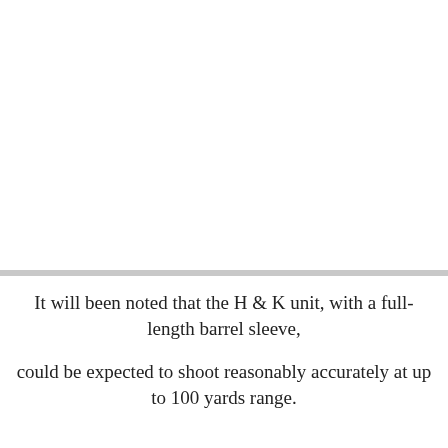[Figure (other): Blank white image area occupying the upper portion of the page]
It will been noted that the H & K unit, with a full-length barrel sleeve,
could be expected to shoot reasonably accurately at up to 100 yards range.